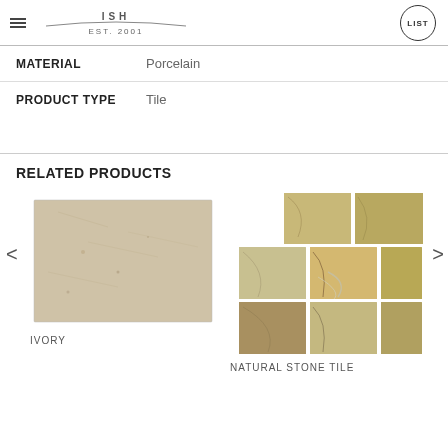EST. 2001 | LIST
| Property | Value |
| --- | --- |
| MATERIAL | Porcelain |
| PRODUCT TYPE | Tile |
RELATED PRODUCTS
[Figure (photo): Ivory travertine tile, rectangular, beige/cream textured surface]
IVORY
[Figure (photo): Natural stone tile mosaic arrangement, multiple piece sizes, beige/gold/grey veined marble]
NATURAL STONE TILE